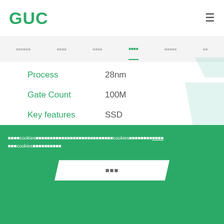GUC
Process | 28nm
Gate Count | 100M
Key features | SSD
DFT Feature | DC/AC Scan, MBIST, IEEE 1149.1, PCIe/DDR loopback, Thermal sensor test
Cookie banner text in Chinese with cookies reference and accept button